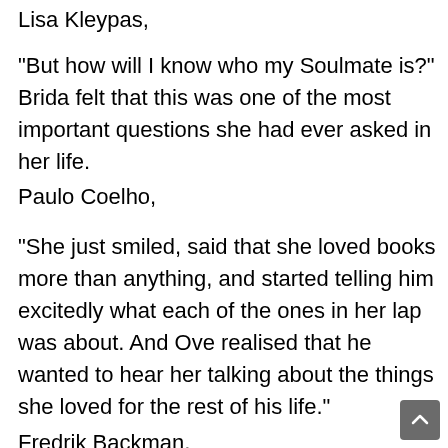Lisa Kleypas,
“But how will I know who my Soulmate is?” Brida felt that this was one of the most important questions she had ever asked in her life.
Paulo Coelho,
“She just smiled, said that she loved books more than anything, and started telling him excitedly what each of the ones in her lap was about. And Ove realised that he wanted to hear her talking about the things she loved for the rest of his life.”
Fredrik Backman,
“When you’re missing a peice of yourself, aching, gut wrenching emptiness begins to take over. Until you